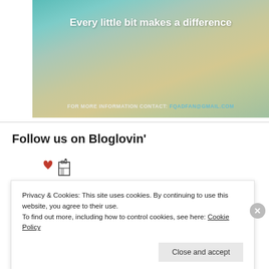[Figure (photo): Banner image with teal/beige sky background. White bold title text 'Every little bit makes a difference'. Contact line 'FOR MORE INFORMATION CONTACT: FQADFAN@GMAIL.COM' in light white/teal text at bottom.]
Follow us on Bloglovin’
[Figure (illustration): Small heart and building/castle icons representing Bloglovin logo area]
Privacy & Cookies: This site uses cookies. By continuing to use this website, you agree to their use.
To find out more, including how to control cookies, see here: Cookie Policy
Close and accept